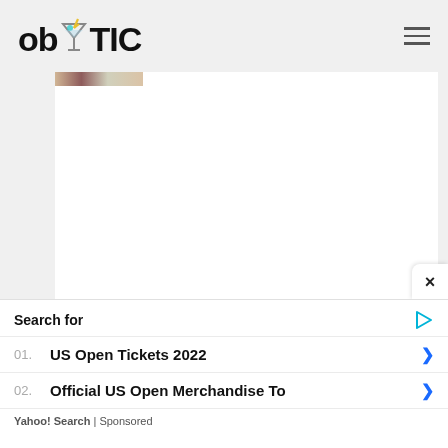ob TIC
[Figure (screenshot): White content area with a small image strip visible at top, part of a webpage]
×
Search for
01. US Open Tickets 2022
02. Official US Open Merchandise To
Yahoo! Search | Sponsored